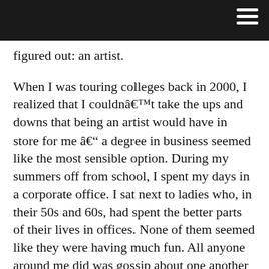figured out: an artist.
When I was touring colleges back in 2000, I realized that I couldnât take the ups and downs that being an artist would have in store for me â a degree in business seemed like the most sensible option. During my summers off from school, I spent my days in a corporate office. I sat next to ladies who, in their 50s and 60s, had spent the better parts of their lives in offices. None of them seemed like they were having much fun. All anyone around me did was gossip about one another by day and drink heavily and chain smoke by night. Sure, I could finish school, climb the corporate ladder and have a nice paycheck waiting for me every two weeksâ¦but that just didnât feel right. I wanted out but Iâm not a quitter. Instead, I finished up my degree, left that office job for good and took a year off, selling shoes instead.
Once Iâd regrouped, I went back to school for what I was actually meant to do: design. I still remember sitting in my collegeâs office.